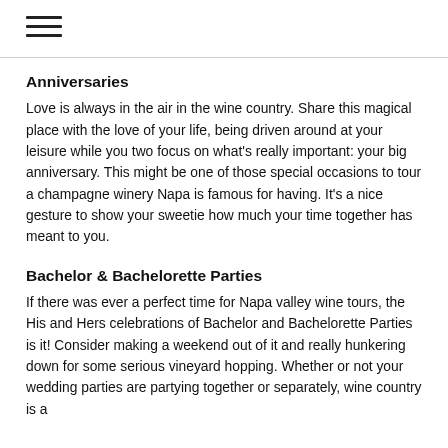☰
Anniversaries
Love is always in the air in the wine country. Share this magical place with the love of your life, being driven around at your leisure while you two focus on what's really important: your big anniversary. This might be one of those special occasions to tour a champagne winery Napa is famous for having. It's a nice gesture to show your sweetie how much your time together has meant to you.
Bachelor & Bachelorette Parties
If there was ever a perfect time for Napa valley wine tours, the His and Hers celebrations of Bachelor and Bachelorette Parties is it! Consider making a weekend out of it and really hunkering down for some serious vineyard hopping. Whether or not your wedding parties are partying together or separately, wine country is a